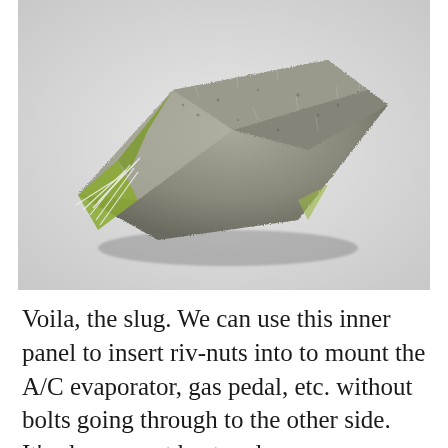[Figure (photo): Close-up photograph of a dusty, fibrous slug — an inner panel component covered in gray lint and dust, with yellow-green accents visible at the edges and white fibrous strands protruding from one side. The object sits on a white/light gray surface.]
Voila, the slug. We can use this inner panel to insert riv-nuts into to mount the A/C evaporator, gas pedal, etc. without bolts going through to the other side. It's also a great heat and